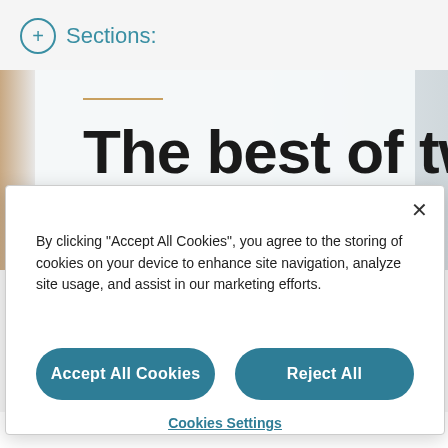+ Sections:
The best of two
By clicking "Accept All Cookies", you agree to the storing of cookies on your device to enhance site navigation, analyze site usage, and assist in our marketing efforts.
Accept All Cookies
Reject All
Cookies Settings